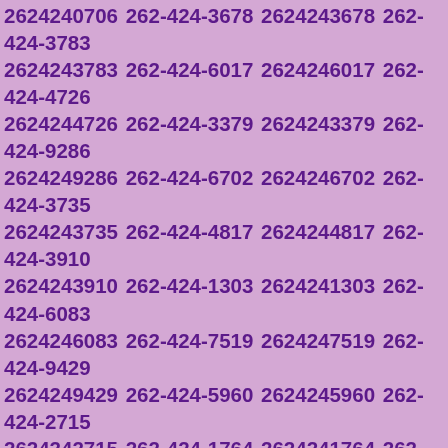2624240706 262-424-3678 2624243678 262-424-3783 2624243783 262-424-6017 2624246017 262-424-4726 2624244726 262-424-3379 2624243379 262-424-9286 2624249286 262-424-6702 2624246702 262-424-3735 2624243735 262-424-4817 2624244817 262-424-3910 2624243910 262-424-1303 2624241303 262-424-6083 2624246083 262-424-7519 2624247519 262-424-9429 2624249429 262-424-5960 2624245960 262-424-2715 2624242715 262-424-1764 2624241764 262-424-2441 2624242441 262-424-2045 2624242045 262-424-9613 2624249613 262-424-5946 2624245946 262-424-3567 2624243567 262-424-9413 2624249413 262-424-2639 2624242639 262-424-3615 2624243615 262-424-6639 2624246639 262-424-8686 2624248686 262-424-2744 2624242744 262-424-6068 2624246068 262-424-4468 2624244468 262-424-8215 2624248215 262-424-3445 2624243445 262-424-6318 2624246318 262-424-7301 2624247301 262-424-5721 2624245721 262-424-7550 2624247550 262-424-9349 2624249349 262-424-1262 2624241262 262-424-4983 2624244983 262-424-3159 2624243159 262-424-3310 2624243310 262-424-1510